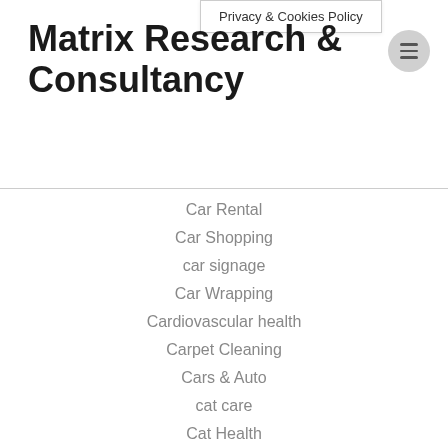Privacy & Cookies Policy
Matrix Research & Consultancy
Car Rental
Car Shopping
car signage
Car Wrapping
Cardiovascular health
Carpet Cleaning
Cars & Auto
cat care
Cat Health
catnip uses
CBD
CBD Benefits